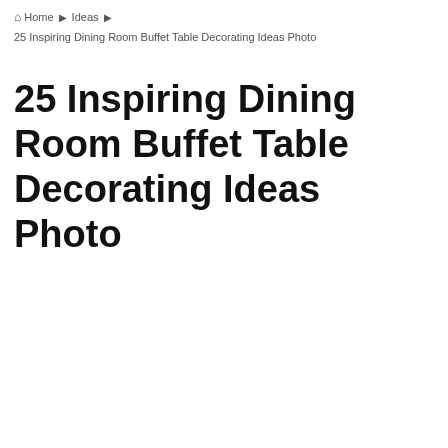Home › Ideas ›
25 Inspiring Dining Room Buffet Table Decorating Ideas Photo
25 Inspiring Dining Room Buffet Table Decorating Ideas Photo